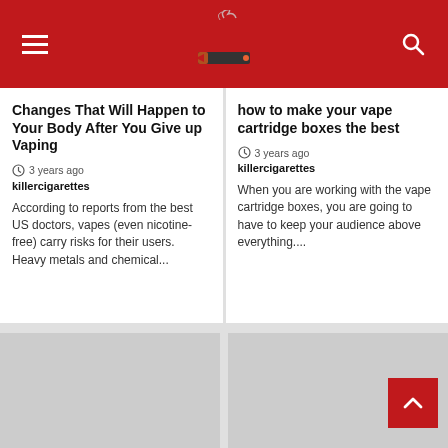killercigarettes - header with logo and navigation
Changes That Will Happen to Your Body After You Give up Vaping
3 years ago
killercigarettes
According to reports from the best US doctors, vapes (even nicotine-free) carry risks for their users. Heavy metals and chemical...
how to make your vape cartridge boxes the best
3 years ago
killercigarettes
When you are working with the vape cartridge boxes, you are going to have to keep your audience above everything....
[Figure (photo): Gray placeholder image, bottom left]
[Figure (photo): Gray placeholder image, bottom right]